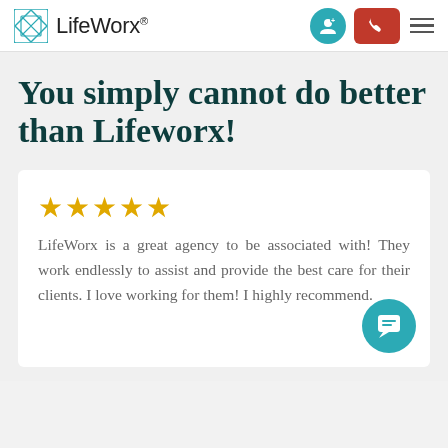LifeWorx
You simply cannot do better than Lifeworx!
LifeWorx is a great agency to be associated with! They work endlessly to assist and provide the best care for their clients. I love working for them! I highly recommend.